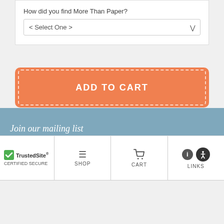How did you find More Than Paper?
< Select One >
ADD TO CART
Join our mailing list
TrustedSite CERTIFIED SECURE | SHOP | CART | LINKS